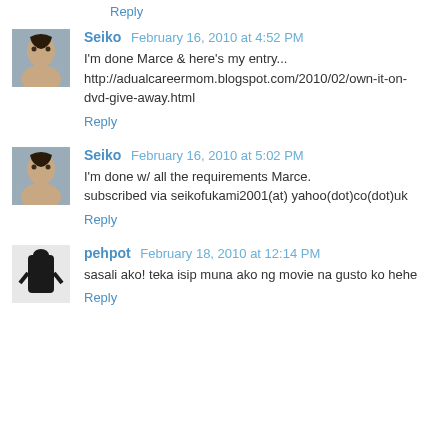Reply
Seiko February 16, 2010 at 4:52 PM
I'm done Marce & here's my entry... http://adualcareermom.blogspot.com/2010/02/own-it-on-dvd-give-away.html
Reply
Seiko February 16, 2010 at 5:02 PM
I'm done w/ all the requirements Marce. subscribed via seikofukami2001(at) yahoo(dot)co(dot)uk
Reply
pehpot February 18, 2010 at 12:14 PM
sasali ako! teka isip muna ako ng movie na gusto ko hehe
Reply